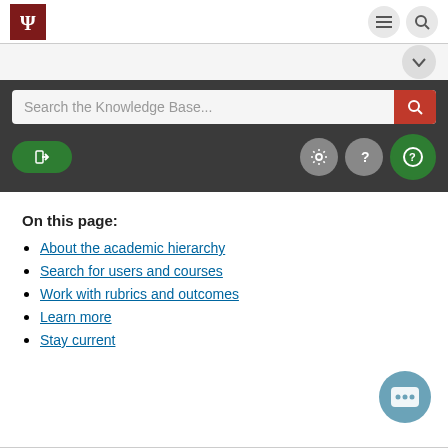[Figure (screenshot): Indiana University logo in dark red box]
[Figure (screenshot): Navigation icons: hamburger menu and search button]
[Figure (screenshot): Chevron/dropdown button]
[Figure (screenshot): Search the Knowledge Base input field with red search button, login button (green), settings icon (gray), help icon (gray), chat icon (green)]
On this page:
About the academic hierarchy
Search for users and courses
Work with rubrics and outcomes
Learn more
Stay current
[Figure (illustration): Chat support bot bubble icon bottom right]